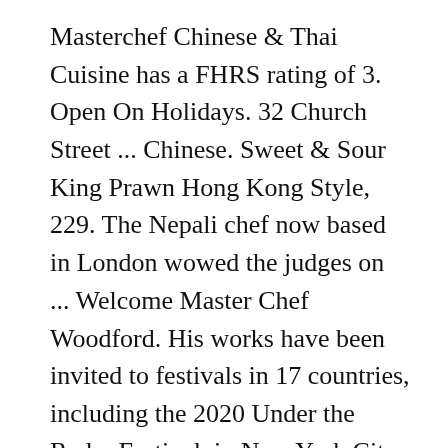Masterchef Chinese & Thai Cuisine has a FHRS rating of 3. Open On Holidays. 32 Church Street ... Chinese. Sweet & Sour King Prawn Hong Kong Style, 229. The Nepali chef now based in London wowed the judges on ... Welcome Master Chef Woodford. His works have been invited to festivals in 17 countries, including the 2020 Under the Radar Festival, in New York City, and the postponed 2021 season of ArtsEmerson. Search for local Takeaway Food near you and submit reviews. A Touch of Spice. 7-11 Takeaway. Chinese Eggplant Sauteed in Garlic Spicy Sauce $9.95: 10. The current rating is on their page on the FSA Website.Allergies, intolerances and dietary requirements: Before ordering, please contact